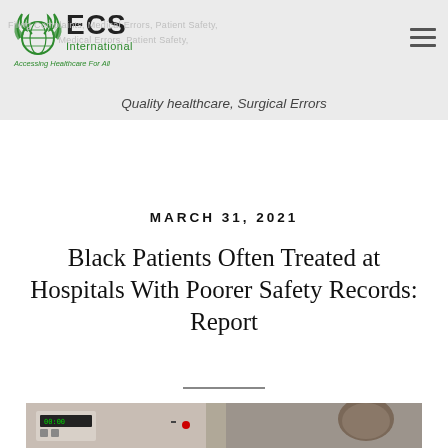ECS International — Accessing Healthcare For All | Filing Complaints, Medical Errors, Patient Safety, Quality healthcare, Surgical Errors
Quality healthcare, Surgical Errors
MARCH 31, 2021
Black Patients Often Treated at Hospitals With Poorer Safety Records: Report
[Figure (photo): Hospital equipment and medical setting, showing what appears to be monitoring devices and a patient in the background]